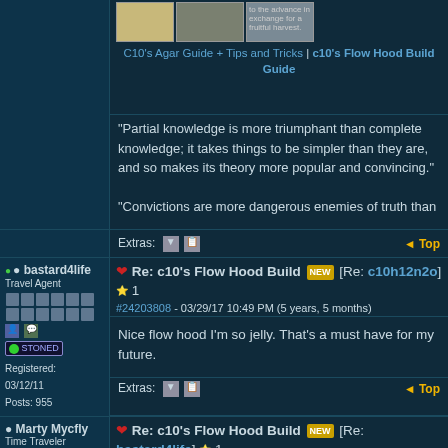[Figure (screenshot): Thumbnail images of agar guides]
C10's Agar Guide + Tips and Tricks | c10's Flow Hood Build Guide
"Partial knowledge is more triumphant than complete knowledge; it takes things to be simpler than they are, and so makes its theory more popular and convincing."

"Convictions are more dangerous enemies of truth than
Extras: [icons] Top
❤ Re: c10's Flow Hood Build [NEW] [Re: c10h12n2o] ⭐ 1
#24203808 - 03/29/17 10:49 PM (5 years, 5 months)
bastard4life
Travel Agent
STONED
Registered: 03/12/11
Posts: 955
Nice flow hood I'm so jelly. That's a must have for my future.
Extras: [icons] Top
❤ Re: c10's Flow Hood Build [NEW] [Re: bastard4life] ⭐ 1
#24203987 - 03/29/17 11:50 PM (5 years, 5 months)
Marty Mycfly
Time Traveler